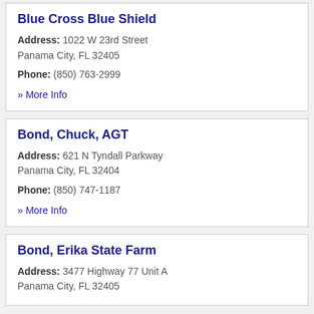Blue Cross Blue Shield
Address: 1022 W 23rd Street
Panama City, FL 32405
Phone: (850) 763-2999
» More Info
Bond, Chuck, AGT
Address: 621 N Tyndall Parkway
Panama City, FL 32404
Phone: (850) 747-1187
» More Info
Bond, Erika State Farm
Address: 3477 Highway 77 Unit A
Panama City, FL 32405